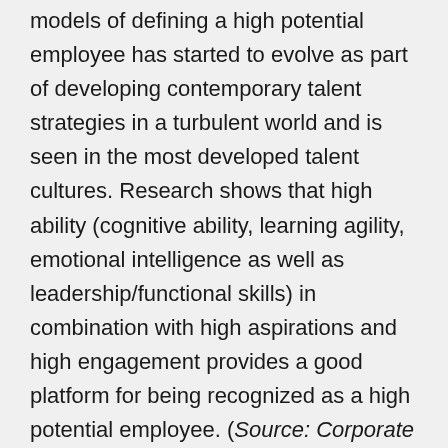models of defining a high potential employee has started to evolve as part of developing contemporary talent strategies in a turbulent world and is seen in the most developed talent cultures. Research shows that high ability (cognitive ability, learning agility, emotional intelligence as well as leadership/functional skills) in combination with high aspirations and high engagement provides a good platform for being recognized as a high potential employee. (Source: Corporate Leadership Council). If the high potential employee at the same time is seen as a high performer exceeding expectations year after year it is evident that we are talking about a true top talent.